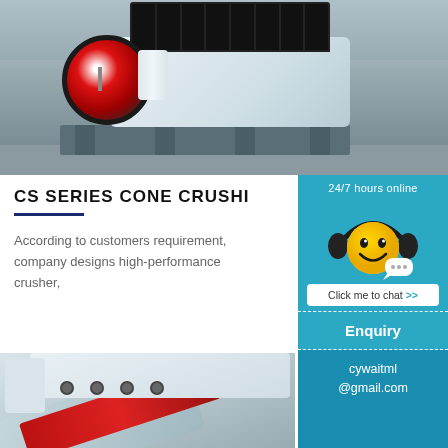[Figure (photo): CS Series Cone Crusher industrial machine with red flywheel, white body, and steel frame in a factory/warehouse setting]
CS SERIES CONE CRUSHER
According to customers requirement, company designs high-performance crusher,
[Figure (infographic): Customer support chat widget with smiley face wearing headphones, '24/7 hours online' text, and 'Click me to chat >>' button on teal background]
Enquiry
cywaitml @gmail.com
[Figure (photo): Close-up of CS Series cone crusher components showing white and red metal parts]